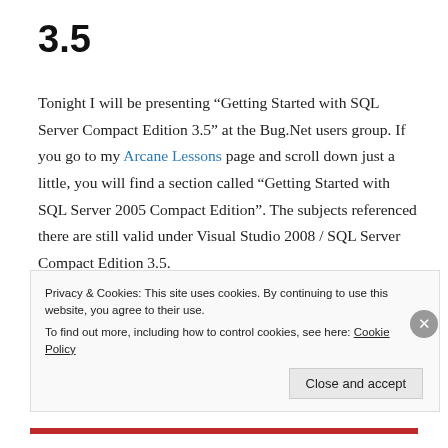3.5
Tonight I will be presenting “Getting Started with SQL Server Compact Edition 3.5” at the Bug.Net users group. If you go to my Arcane Lessons page and scroll down just a little, you will find a section called “Getting Started with SQL Server 2005 Compact Edition”. The subjects referenced there are still valid under Visual Studio 2008 / SQL Server Compact Edition 3.5.
However, there are some new features that make it
Privacy & Cookies: This site uses cookies. By continuing to use this website, you agree to their use.
To find out more, including how to control cookies, see here: Cookie Policy
Close and accept